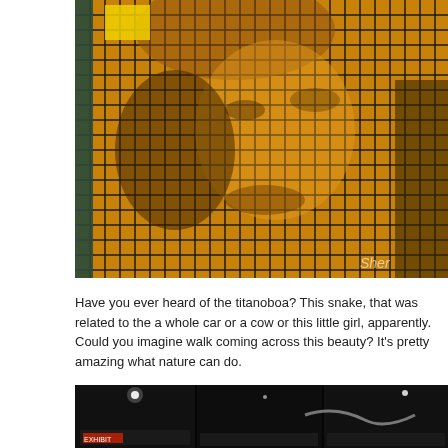[Figure (photo): A mosaic or grid-tile artwork displaying what appears to be a face (Mona Lisa or similar portrait), made up of small golden/amber colored square tiles arranged in a grid pattern with dark separating lines. The image is warmly lit in golden/orange tones. A watermark reading 'Sher' is visible in the bottom right corner.]
Have you ever heard of the titanoboa? This snake, that was related to the a whole car or a cow or this little girl, apparently. Could you imagine walk coming across this beauty? It's pretty amazing what nature can do.
[Figure (photo): A dark, dimly lit indoor scene (possibly a museum or exhibition) split into three panels showing dark backgrounds with some white lights visible and the bottom of what appears to be an exhibit display.]